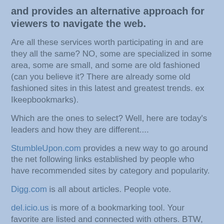and provides an alternative approach for viewers to navigate the web.
Are all these services worth participating in and are they all the same? NO, some are specialized in some area, some are small, and some are old fashioned (can you believe it? There are already some old fashioned sites in this latest and greatest trends. ex Ikeepbookmarks).
Which are the ones to select? Well, here are today's leaders and how they are different....
StumbleUpon.com provides a new way to go around the net following links established by people who have recommended sites by category and popularity.
Digg.com is all about articles. People vote.
del.icio.us is more of a bookmarking tool. Your favorite are listed and connected with others. BTW, for a great explanation and howto on del.icio.ous, try this social bookmarketing video